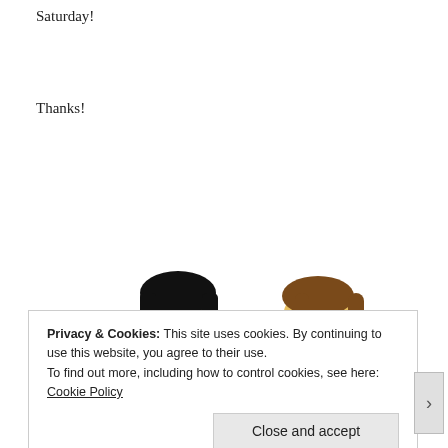Saturday!
Thanks!
[Figure (illustration): Simpsons-style cartoon illustration of two characters: one dressed in a blue suit with glasses and dark hair (left), and one in a blue t-shirt with brown hair (right), exchanging a box/book with a green image on it.]
•
Privacy & Cookies: This site uses cookies. By continuing to use this website, you agree to their use.
To find out more, including how to control cookies, see here: Cookie Policy
Close and accept